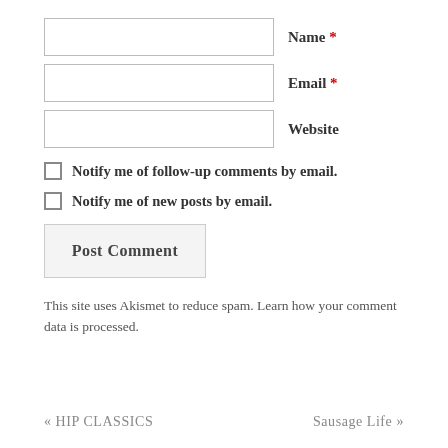Name *
Email *
Website
Notify me of follow-up comments by email.
Notify me of new posts by email.
Post Comment
This site uses Akismet to reduce spam. Learn how your comment data is processed.
« HIP CLASSICS    Sausage Life »